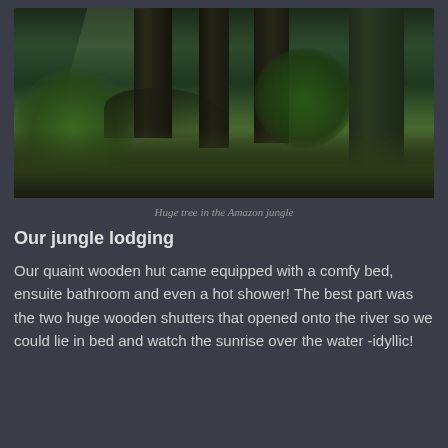[Figure (photo): Photograph of huge trees in the Amazon jungle, with large buttress roots and dense green tropical vegetation on the forest floor. The scene is dimly lit with light filtering through the canopy.]
Huge tree in the Amazon jungle
Our jungle lodging
Our quaint wooden hut came equipped with a comfy bed, ensuite bathroom and even a hot shower! The best part was the two huge wooden shutters that opened onto the river so we could lie in bed and watch the sunrise over the water -idyllic!